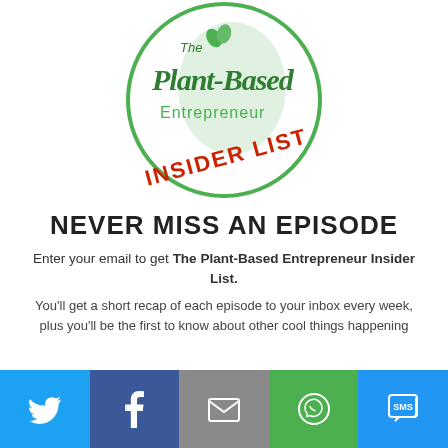[Figure (logo): The Plant-Based Entrepreneur Insider List circular logo with green leaves, green circle border, and red bold 'INSIDER LIST' text stamp at bottom]
NEVER MISS AN EPISODE
Enter your email to get The Plant-Based Entrepreneur Insider List.
You'll get a short recap of each episode to your inbox every week, plus you'll be the first to know about other cool things happening
[Figure (infographic): Social share bar with 5 buttons: Twitter (blue), Facebook (dark blue), Email (grey), WhatsApp (green), SMS (blue)]